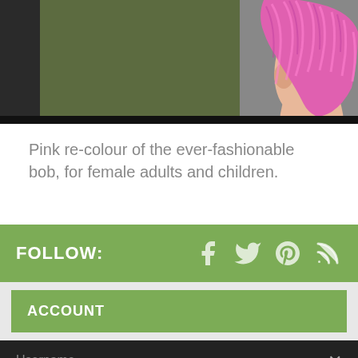[Figure (photo): Side profile of a 3D rendered female figure with a bright pink bob hairstyle against a dark gray background]
Pink re-colour of the ever-fashionable bob, for female adults and children.
FOLLOW:
ACCOUNT
Username
Privacy Preferences
I Agree
Password